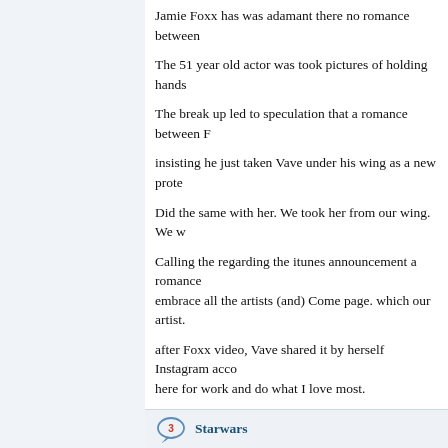Jamie Foxx has was adamant there no romance between
The 51 year old actor was took pictures of holding hands
The break up led to speculation that a romance between F
insisting he just taken Vave under his wing as a new prote
Did the same with her. We took her from our wing. We w
Calling the regarding the itunes announcement a romance embrace all the artists (and) Come page. which our artist.
after Foxx video, Vave shared it by herself Instagram acco here for work and do what I love most.
Starwars
iwyu qk Starwars Wars youtube.com/watch?v=KgUoGsW
Williamdet
https://freecarsforyou.club/
Jamie Jackson Escort